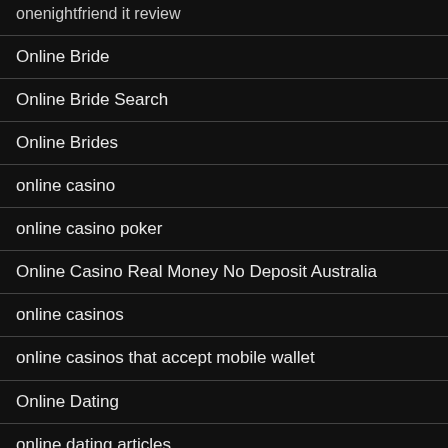onenightfriend it review
Online Bride
Online Bride Search
Online Brides
online casino
online casino poker
Online Casino Real Money No Deposit Australia
online casinos
online casinos that accept mobile wallet
Online Dating
online dating articles
online dating best sites
online dating first date